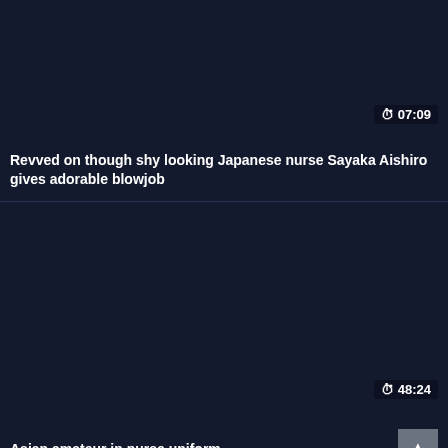[Figure (screenshot): Dark thumbnail area for first video card]
07:09
Revved on though shy looking Japanese nurse Sayaka Aishiro gives adorable blowjob
[Figure (screenshot): Dark thumbnail area for second video card]
48:24
Asian amateur in nurse uniform